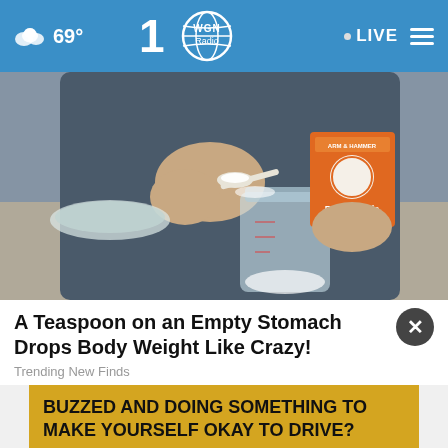69° WGN Radio · LIVE
[Figure (photo): Person holding an orange Arm & Hammer Baking Soda box and spooning white powder into a glass jar on a countertop]
A Teaspoon on an Empty Stomach Drops Body Weight Like Crazy!
Trending New Finds
BUZZED AND DOING SOMETHING TO MAKE YOURSELF OKAY TO DRIVE?